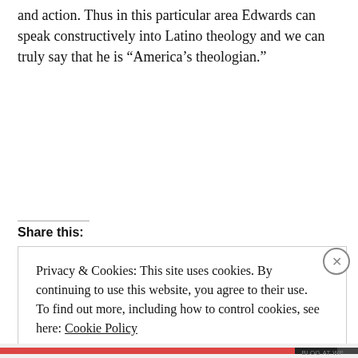and action. Thus in this particular area Edwards can speak constructively into Latino theology and we can truly say that he is “America’s theologian.”
Share this:
Privacy & Cookies: This site uses cookies. By continuing to use this website, you agree to their use. To find out more, including how to control cookies, see here: Cookie Policy
Close and accept